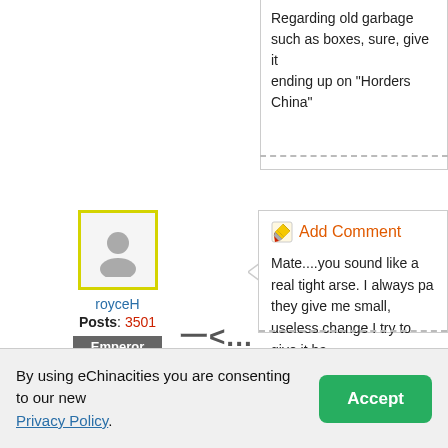Regarding old garbage such as boxes, sure, give it ending up on "Horders China"
[Figure (other): Add Comment icon (pencil on notepad)]
Add Comment
Mate....you sound like a real tight arse. I always pa they give me small, useless change I try to give it ba back I leave it outside somewhere.

And the last time I saw a coin in China was a couple the east.

MIL issue....resolve it, if possible. That means she necessary, pay her to do so.
[Figure (photo): User avatar placeholder silhouette with yellow border]
royceH
Posts: 3501
Emperor
By using eChinacities you are consenting to our new Privacy Policy.